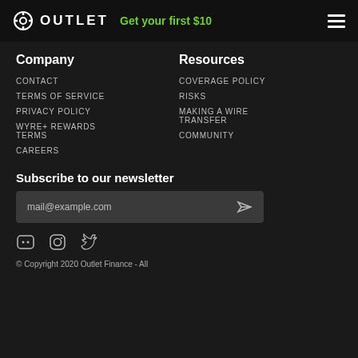OUTLET — Get your first $10
Company
CONTACT
TERMS OF SERVICE
PRIVACY POLICY
WYRE+ REWARDS TERMS
CAREERS
Resources
COVERAGE POLICY
RISKS
MAKING A WIRE TRANSFER
COMMUNITY
Subscribe to our newsletter
mail@example.com
© Copyright 2020 Outlet Finance - All